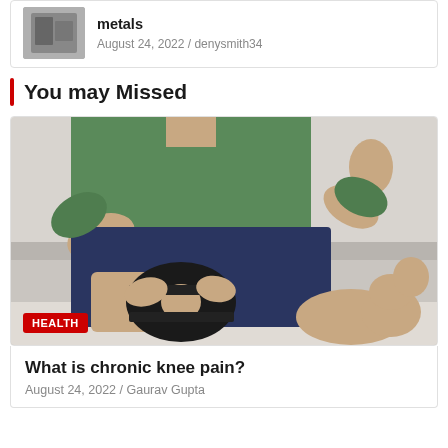[Figure (photo): Thumbnail image of metallic objects (metals)]
metals
August 24, 2022 / denysmith34
You may Missed
[Figure (photo): Man sitting on a couch wearing a black knee brace, holding his knee with both hands. Green shirt, navy shorts. HEALTH badge overlaid bottom-left.]
What is chronic knee pain?
August 24, 2022 / Gaurav Gupta